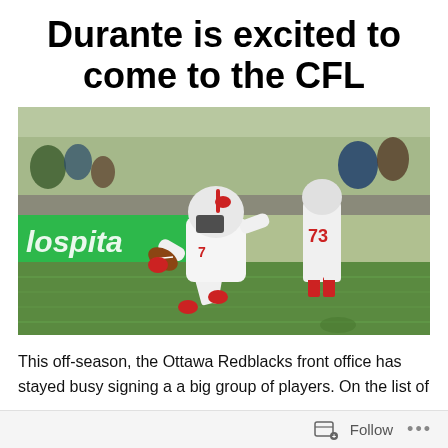Durante is excited to come to the CFL
[Figure (photo): Football player in white uniform with red accents and helmet running with ball on a green turf field, with a green hospital sponsor banner visible in background and another player wearing jersey number 73 behind them]
This off-season, the Ottawa Redblacks front office has stayed busy signing a a big group of players. On the list of